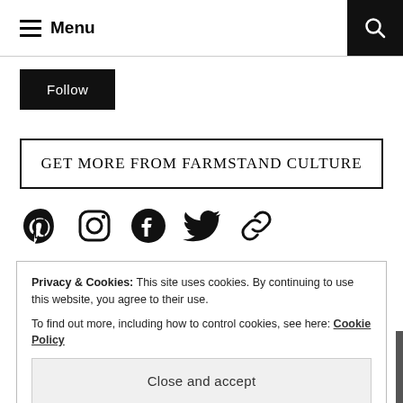Menu
Follow
GET MORE FROM FARMSTAND CULTURE
[Figure (other): Social media icons: Pinterest, Instagram, Facebook, Twitter, and a link/chain icon]
Privacy & Cookies: This site uses cookies. By continuing to use this website, you agree to their use.
To find out more, including how to control cookies, see here: Cookie Policy
Close and accept